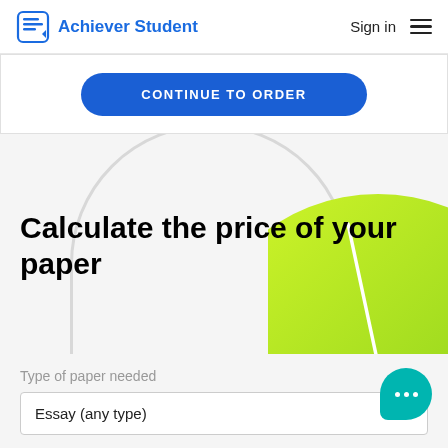Achiever Student | Sign in
CONTINUE TO ORDER
Calculate the price of your paper
Type of paper needed
Essay (any type)
[Figure (illustration): Decorative gauge illustration with a gray semicircle arc and a green gradient filled semicircle on the right side]